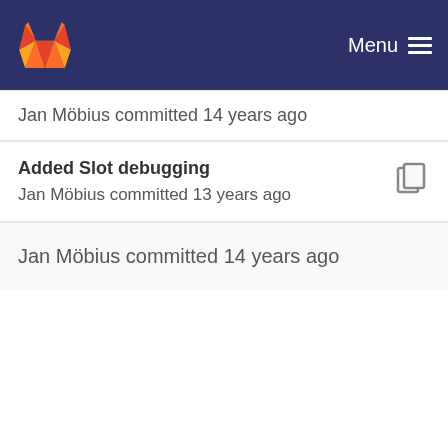Menu
Jan Möbius committed 14 years ago
Added Slot debugging
Jan Möbius committed 13 years ago
Jan Möbius committed 14 years ago